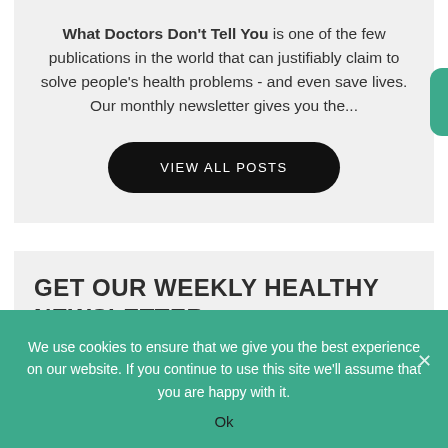What Doctors Don't Tell You is one of the few publications in the world that can justifiably claim to solve people's health problems - and even save lives. Our monthly newsletter gives you the...
VIEW ALL POSTS
GET OUR WEEKLY HEALTHY NEWSLETTER
We use cookies to ensure that we give you the best experience on our website. If you continue to use this site we'll assume that you are happy with it.
Ok